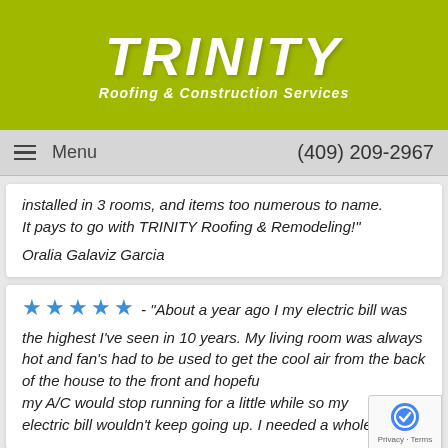[Figure (logo): Trinity Roofing & Construction Services logo on olive/yellow-green background]
Menu   (409) 209-2967
installed in 3 rooms, and items too numerous to name. It pays to go with TRINITY Roofing & Remodeling!"
Oralia Galaviz Garcia
★★★★★ - "About a year ago I my electric bill was the highest I've seen in 10 years. My living room was always hot and fan's had to be used to get the cool air from the back of the house to the front and hopefully my A/C would stop running for a little while so my electric bill wouldn't keep going up. I needed a whole